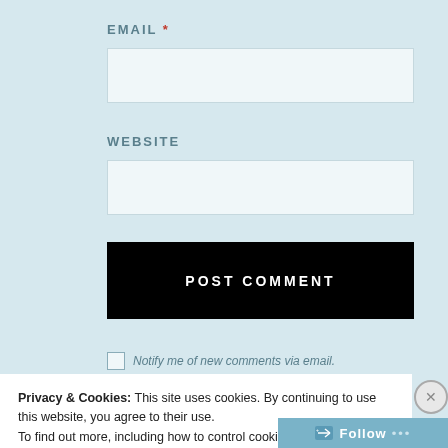EMAIL *
[Figure (screenshot): Empty email input field (text box)]
WEBSITE
[Figure (screenshot): Empty website input field (text box)]
POST COMMENT
Notify me of new comments via email.
Privacy & Cookies: This site uses cookies. By continuing to use this website, you agree to their use.
To find out more, including how to control cookies, see here: Cookie Policy
Close and accept
Follow